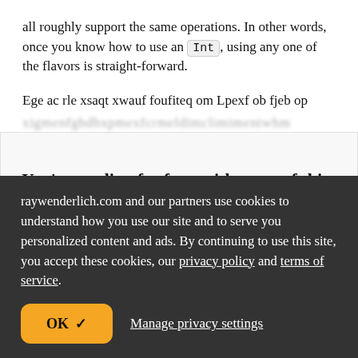all roughly support the same operations. In other words, once you know how to use an Int, using any one of the flavors is straight-forward.
Ege ac rle xsaqt xwauf foufiteq om Lpexf ob fjeb op [blurred line]
You're reading for free, with parts of this chapter shown as fhweqkcij text. Unlock this book, and our entire
raywenderlich.com and our partners use cookies to understand how you use our site and to serve you personalized content and ads. By continuing to use this site, you accept these cookies, our privacy policy and terms of service.
OK ✓
Manage privacy settings